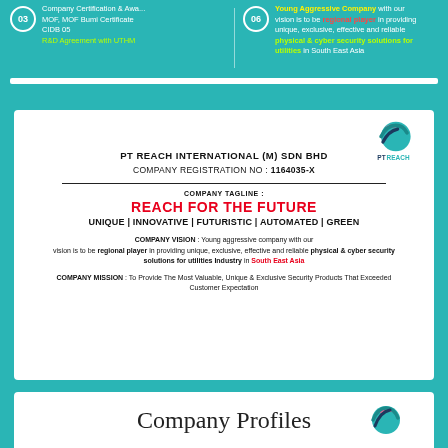03 Company Certification & Awa... MOF, MOF Bumiputera Certificate, CIDB 05, R&D Agreement with UTHM
06 Young Aggressive Company with our vision is to be regional player in providing unique, exclusive, effective and reliable physical & cyber security solutions for utilities in South East Asia
PT REACH INTERNATIONAL (M) SDN BHD
COMPANY REGISTRATION NO : 1164035-X
COMPANY TAGLINE:
REACH FOR THE FUTURE
UNIQUE | INNOVATIVE | FUTURISTIC | AUTOMATED | GREEN
COMPANY VISION : Young aggressive company with our vision is to be regional player in providing unique, exclusive, effective and reliable physical & cyber security solutions for utilities Industry in South East Asia
COMPANY MISSION : To Provide The Most Valuable, Unique & Exclusive Security Products That Exceeded Customer Expectation
Company Profiles